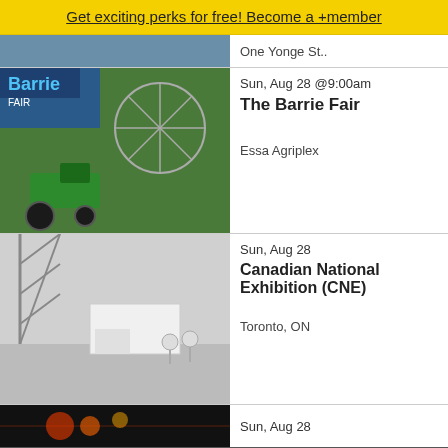Get exciting perks for free! Become a +member
One Yonge St..
Sun, Aug 28 @9:00am
The Barrie Fair
Essa Agriplex
Sun, Aug 28
Canadian National Exhibition (CNE)
Toronto, ON
Sun, Aug 28
See All Events
Add Your Event
[Figure (screenshot): Crumbl Cookies advertisement with logo, brand name with trademark symbol, and subtitle 'Crumbl Cookies - Ashburn' with navigation arrow icon]